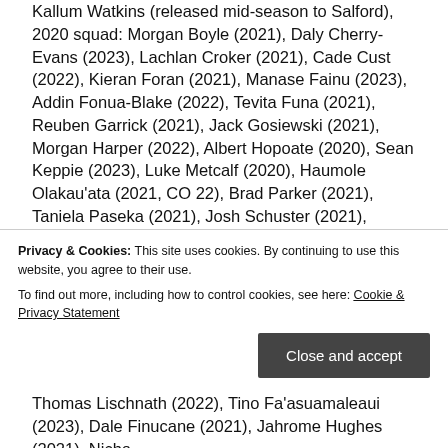Kallum Watkins (released mid-season to Salford), 2020 squad: Morgan Boyle (2021), Daly Cherry-Evans (2023), Lachlan Croker (2021), Cade Cust (2022), Kieran Foran (2021), Manase Fainu (2023), Addin Fonua-Blake (2022), Tevita Funa (2021), Reuben Garrick (2021), Jack Gosiewski (2021), Morgan Harper (2022), Albert Hopoate (2020), Sean Keppie (2023), Luke Metcalf (2020), Haumole Olakau'ata (2021, CO 22), Brad Parker (2021), Taniela Paseka (2021), Josh Schuster (2021), Toafofoa Sipley (2021), Curtis Sironen (2021), Samuel Smith (2020), Moses Suli (2020), Jorge Taufua (2021), Martin Taupau (2022), Jake Trbojevic (2026), Tom Trbojevic (2026), Dylan Walker (2021), 2021 gains: Kieran Foran (from Bulldogs until 2021), Andrew Davey (from Eels until
Privacy & Cookies: This site uses cookies. By continuing to use this website, you agree to their use.
To find out more, including how to control cookies, see here: Cookie & Privacy Statement
Thomas Lischnath (2022), Tino Fa'asuamaleaui (2023), Dale Finucane (2021), Jahrome Hughes (2021), Nicho